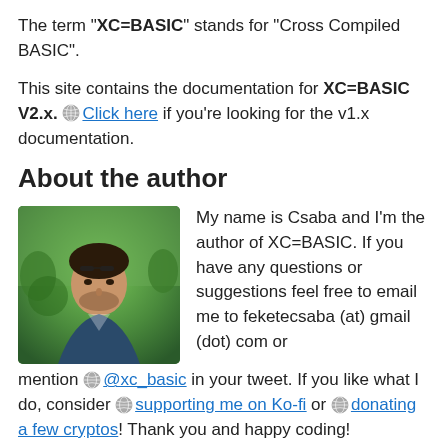The term "XC=BASIC" stands for "Cross Compiled BASIC".
This site contains the documentation for XC=BASIC V2.x. Click here if you're looking for the v1.x documentation.
About the author
[Figure (photo): Photo of the author Csaba, a man outdoors with trees in the background]
My name is Csaba and I'm the author of XC=BASIC. If you have any questions or suggestions feel free to email me to feketecsaba (at) gmail (dot) com or mention @xc_basic in your tweet. If you like what I do, consider supporting me on Ko-fi or donating a few cryptos! Thank you and happy coding!
[Figure (other): Support Me on Ko-fi button (blue) and Donate crypto with NOWPayments button (dark)]